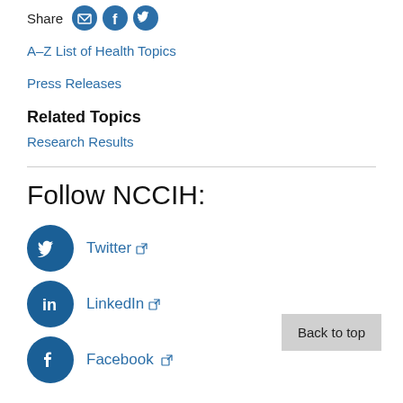Share [email icon] [facebook icon] [twitter icon]
A–Z List of Health Topics
Press Releases
Related Topics
Research Results
Follow NCCIH:
Twitter [external link]
LinkedIn [external link]
Facebook [external link]
Back to top